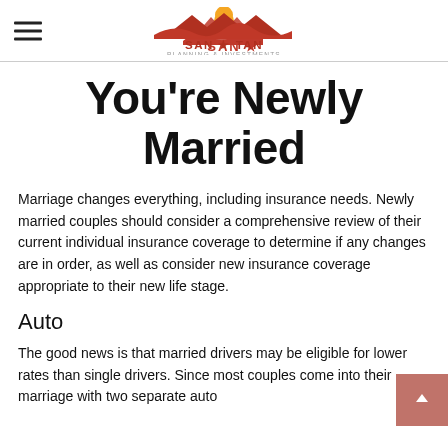SAN TAN PLANNING & INVESTMENTS
You're Newly Married
Marriage changes everything, including insurance needs. Newly married couples should consider a comprehensive review of their current individual insurance coverage to determine if any changes are in order, as well as consider new insurance coverage appropriate to their new life stage.
Auto
The good news is that married drivers may be eligible for lower rates than single drivers. Since most couples come into their marriage with two separate auto